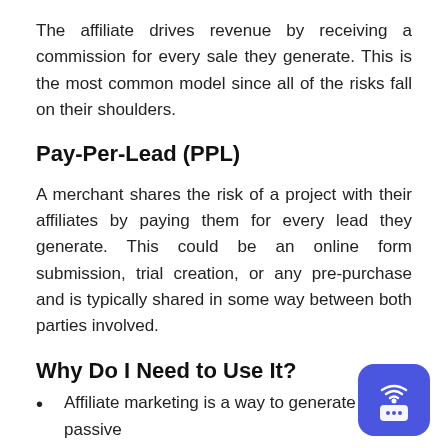The affiliate drives revenue by receiving a commission for every sale they generate. This is the most common model since all of the risks fall on their shoulders.
Pay-Per-Lead (PPL)
A merchant shares the risk of a project with their affiliates by paying them for every lead they generate. This could be an online form submission, trial creation, or any pre-purchase and is typically shared in some way between both parties involved.
Why Do I Need to Use It?
Affiliate marketing is a way to generate passive